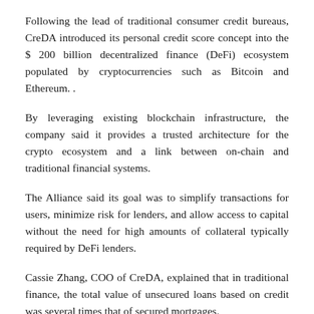Following the lead of traditional consumer credit bureaus, CreDA introduced its personal credit score concept into the $ 200 billion decentralized finance (DeFi) ecosystem populated by cryptocurrencies such as Bitcoin and Ethereum. .
By leveraging existing blockchain infrastructure, the company said it provides a trusted architecture for the crypto ecosystem and a link between on-chain and traditional financial systems.
The Alliance said its goal was to simplify transactions for users, minimize risk for lenders, and allow access to capital without the need for high amounts of collateral typically required by DeFi lenders.
Cassie Zhang, COO of CreDA, explained that in traditional finance, the total value of unsecured loans based on credit was several times that of secured mortgages.
“The introduction of CreDA credit scores will allow unprecedented imagination and innovation for users and protocol developers,” she noted.